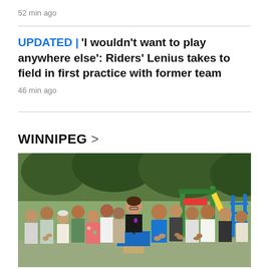52 min ago
UPDATED | 'I wouldn't want to play anywhere else': Riders' Lenius takes to field in first practice with former team
46 min ago
WINNIPEG >
[Figure (photo): A woman in a black sleeveless top stands at a podium speaking, surrounded by a crowd of people applauding. A playground with colorful equipment is visible in the background.]